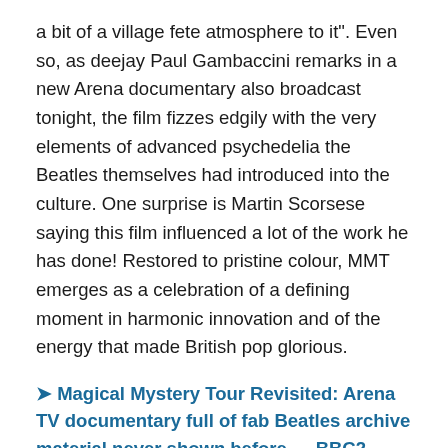a bit of a village fete atmosphere to it”. Even so, as deejay Paul Gambaccini remarks in a new Arena documentary also broadcast tonight, the film fizzes edgily with the very elements of advanced psychedelia the Beatles themselves had introduced into the culture. One surprise is Martin Scorsese saying this film influenced a lot of the work he has done! Restored to pristine colour, MMT emerges as a celebration of a defining moment in harmonic innovation and of the energy that made British pop glorious.
➤ Magical Mystery Tour Revisited: Arena TV documentary full of fab Beatles archive material never shown before — BBC2, 21:45, Oct 6
➤ The Beatles’ Magical Mystery Tour (1967): Fully restored with a remixed soundtrack, here’s the original surreal and utterly misunderstood film —